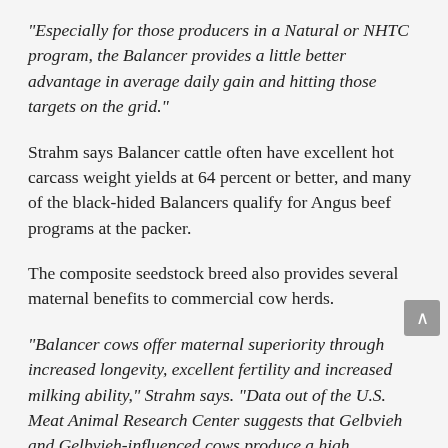“Especially for those producers in a Natural or NHTC program, the Balancer provides a little better advantage in average daily gain and hitting those targets on the grid.”
Strahm says Balancer cattle often have excellent hot carcass weight yields at 64 percent or better, and many of the black-hided Balancers qualify for Angus beef programs at the packer.
The composite seedstock breed also provides several maternal benefits to commercial cow herds.
“Balancer cows offer maternal superiority through increased longevity, excellent fertility and increased milking ability,” Strahm says. “Data out of the U.S. Meat Animal Research Center suggests that Gelbvieh and Gelbvieh-influenced cows produce a high percentage of calves weaned per cow exposed, and that’s a profit-maker for commercial cattlemen.”